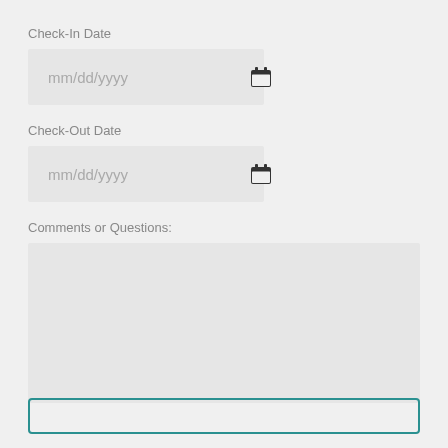Check-In Date
[Figure (screenshot): Date input field with placeholder mm/dd/yyyy and calendar icon]
Check-Out Date
[Figure (screenshot): Date input field with placeholder mm/dd/yyyy and calendar icon]
Comments or Questions:
[Figure (screenshot): Large multi-line text area input box]
[Figure (screenshot): Teal outlined submit button at bottom of page]